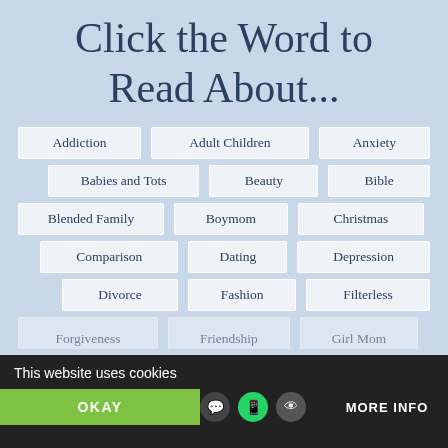Click the Word to Read About...
Addiction
Adult Children
Anxiety
Babies and Tots
Beauty
Bible
Blended Family
Boymom
Christmas
Comparison
Dating
Depression
Divorce
Fashion
Filterless
Forgiveness
Friendship
Girl Mom
This website uses cookies
OKAY
MORE INFO